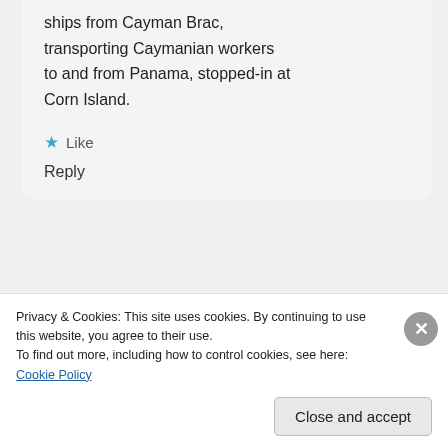ships from Cayman Brac, transporting Caymanian workers to and from Panama, stopped-in at Corn Island.
Like
Reply
Oliver Marshall
May 18, 2015 at 2:34 pm
That's very interesting. I wasn't
Privacy & Cookies: This site uses cookies. By continuing to use this website, you agree to their use.
To find out more, including how to control cookies, see here: Cookie Policy
Close and accept